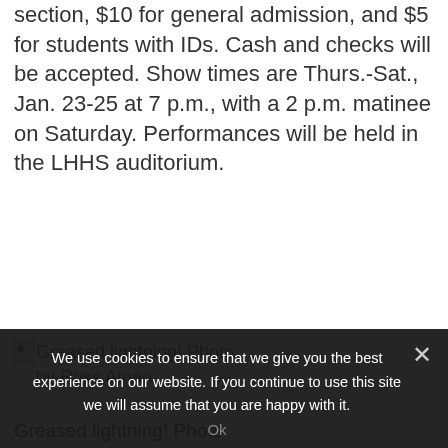section, $10 for general admission, and $5 for students with IDs. Cash and checks will be accepted. Show times are Thurs.-Sat., Jan. 23-25 at 7 p.m., with a 2 p.m. matinee on Saturday. Performances will be held in the LHHS auditorium.
[Figure (photo): Broken image placeholder with alt text: Greased lightning! Photo by Russ Aman.]
Greased lightning! Photo by Russ Aman.
[Figure (photo): Photo of performers on stage with a pink/magenta background, showing several people in dark clothing.]
We use cookies to ensure that we give you the best experience on our website. If you continue to use this site we will assume that you are happy with it.
Ok